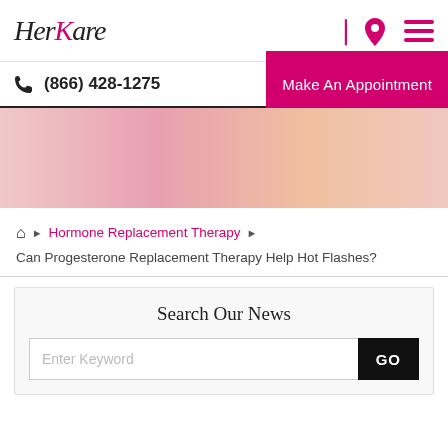HerKare logo
(866) 428-1275   Make An Appointment
[Figure (photo): Hero image banner partial view]
Home > Hormone Replacement Therapy > Can Progesterone Replacement Therapy Help Hot Flashes?
Search Our News
Enter Keyword  GO